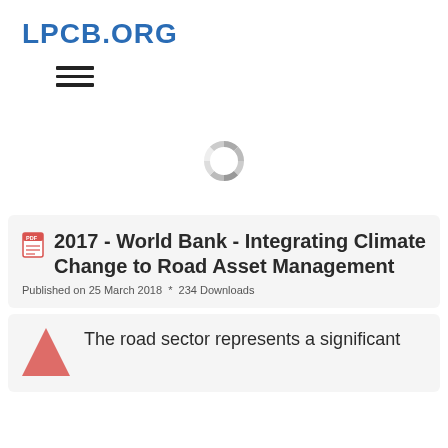LPCB.ORG
[Figure (other): Hamburger menu icon (three horizontal lines)]
[Figure (other): Loading spinner / circular progress indicator (gray segmented circle)]
2017 - World Bank - Integrating Climate Change to Road Asset Management
Published on 25 March 2018  *  234 Downloads
The road sector represents a significant